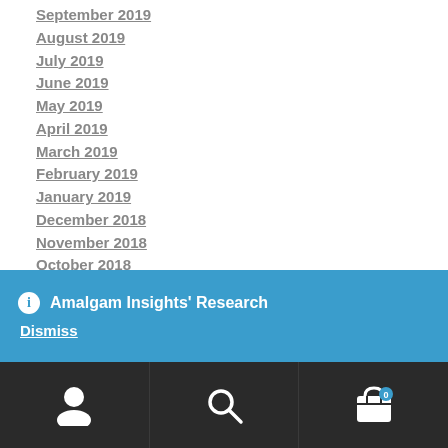September 2019
August 2019
July 2019
June 2019
May 2019
April 2019
March 2019
February 2019
January 2019
December 2018
November 2018
October 2018
September 2018
Amalgam Insights' Research
Dismiss